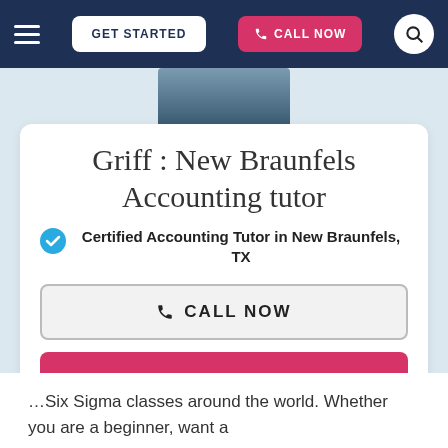GET STARTED | CALL NOW
[Figure (photo): Partial profile photo of tutor Griff, showing upper body in dark clothing]
Griff : New Braunfels Accounting tutor
Certified Accounting Tutor in New Braunfels, TX
CALL NOW
GET STARTED
…Six Sigma classes around the world. Whether you are a beginner, want a